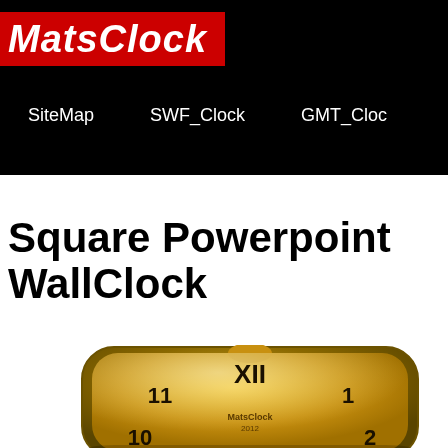MatsClock
SiteMap   SWF_Clock   GMT_Clock
Square Powerpoint WallClock
[Figure (illustration): A square golden/yellow analog wall clock with rounded corners, showing numbers XII at top, 11 and 1 on sides, 10 and 2 below, with MatsClock branding in center. Golden metallic frame with glossy reflection.]